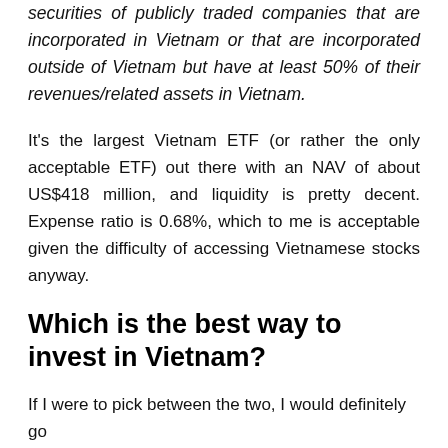securities of publicly traded companies that are incorporated in Vietnam or that are incorporated outside of Vietnam but have at least 50% of their revenues/related assets in Vietnam.
It's the largest Vietnam ETF (or rather the only acceptable ETF) out there with an NAV of about US$418 million, and liquidity is pretty decent. Expense ratio is 0.68%, which to me is acceptable given the difficulty of accessing Vietnamese stocks anyway.
Which is the best way to invest in Vietnam?
If I were to pick between the two, I would definitely go